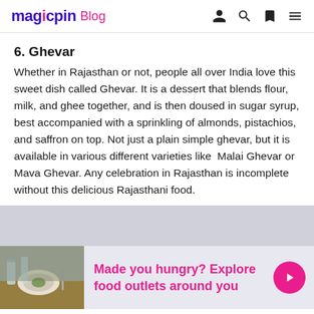magicpin Blog
6. Ghevar
Whether in Rajasthan or not, people all over India love this sweet dish called Ghevar. It is a dessert that blends flour, milk, and ghee together, and is then doused in sugar syrup, best accompanied with a sprinkling of almonds, pistachios, and saffron on top. Not just a plain simple ghevar, but it is available in various different varieties like Malai Ghevar or Mava Ghevar. Any celebration in Rajasthan is incomplete without this delicious Rajasthani food.
[Figure (photo): Restaurant table setting with plates and glasses, food outlet promotional image]
Made you hungry? Explore food outlets around you